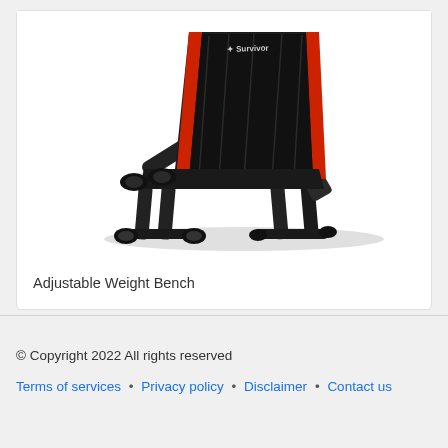[Figure (photo): An adjustable weight bench with black padded seat and back, red trim along edges, black metal frame with legs, and roller pads at the front for leg support. The bench is shown at an inclined angle on a white background.]
Adjustable Weight Bench
© Copyright 2022 All rights reserved
Terms of services • Privacy policy • Disclaimer • Contact us